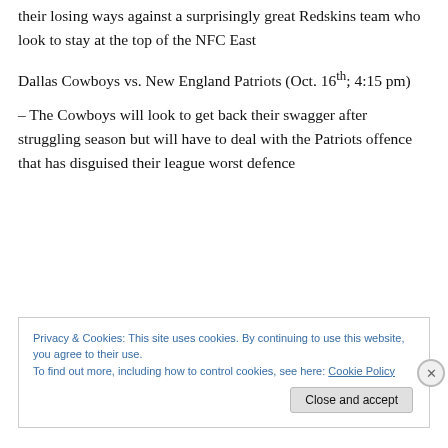their losing ways against a surprisingly great Redskins team who look to stay at the top of the NFC East
Dallas Cowboys vs. New England Patriots (Oct. 16th; 4:15 pm)
– The Cowboys will look to get back their swagger after struggling season but will have to deal with the Patriots offence that has disguised their league worst defence
Privacy & Cookies: This site uses cookies. By continuing to use this website, you agree to their use.
To find out more, including how to control cookies, see here: Cookie Policy